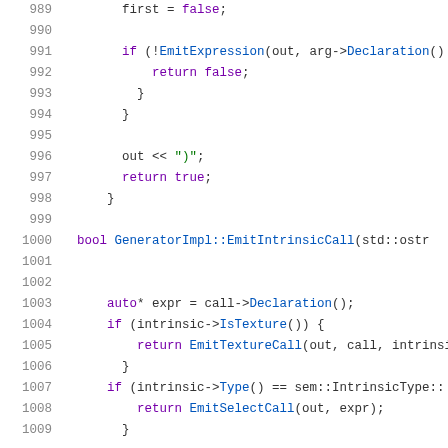Source code listing, lines 989–1009, showing C++ code for GeneratorImpl::EmitIntrinsicCall function